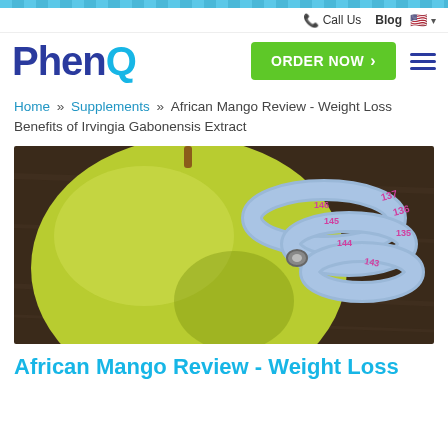PhenQ — website header with logo, ORDER NOW button, Call Us, Blog, language selector
Home » Supplements » African Mango Review - Weight Loss Benefits of Irvingia Gabonensis Extract
[Figure (photo): Large green mango fruit next to a blue measuring tape coiled on a dark wooden surface.]
African Mango Review - Weight Loss